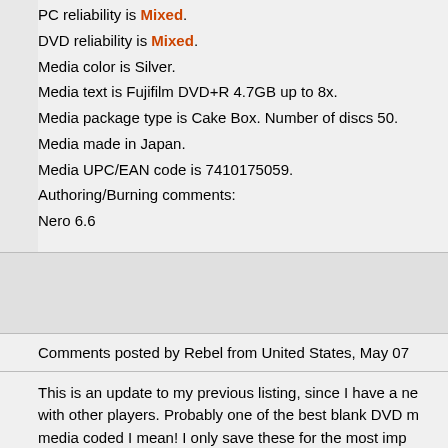PC reliability is Mixed.
DVD reliability is Mixed.
Media color is Silver.
Media text is Fujifilm DVD+R 4.7GB up to 8x.
Media package type is Cake Box. Number of discs 50.
Media made in Japan.
Media UPC/EAN code is 7410175059.
Authoring/Burning comments:
Nero 6.6
Comments posted by Rebel from United States, May 07
This is an update to my previous listing, since I have a ne with other players. Probably one of the best blank DVD m media coded I mean! I only save these for the most imp pictures. These discs scored the highest out of any blank date...with Nero CD-DVD Speed a score of no less than have bought more. All 200 have burned with flying colors